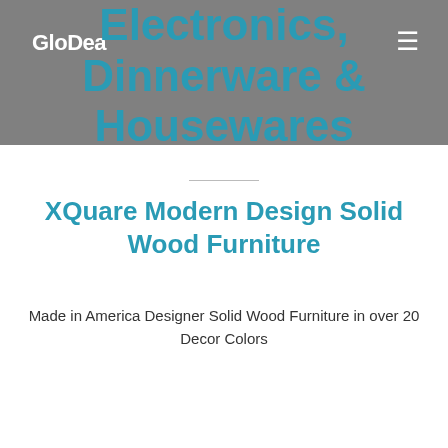GloDea
Electronics, Dinnerware & Housewares
XQuare Modern Design Solid Wood Furniture
Made in America Designer Solid Wood Furniture in over 20 Decor Colors